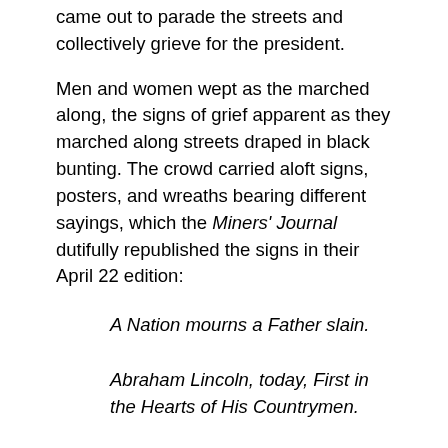came out to parade the streets and collectively grieve for the president.
Men and women wept as the marched along, the signs of grief apparent as they marched along streets draped in black bunting. The crowd carried aloft signs, posters, and wreaths bearing different sayings, which the Miners' Journal dutifully republished the signs in their April 22 edition:
A Nation mourns a Father slain.
Abraham Lincoln, today, First in the Hearts of His Countrymen.
Dead, on the Borders of the Promised Land
Abraham Lincoln – His Blood shall be the Cement of the Union, and the Seed of a great, regenerated, o'er